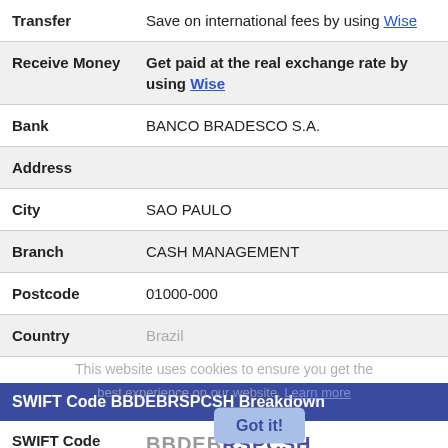| Label | Value |
| --- | --- |
| Transfer | Save on international fees by using Wise |
| Receive Money | Get paid at the real exchange rate by using Wise |
| Bank | BANCO BRADESCO S.A. |
| Address |  |
| City | SAO PAULO |
| Branch | CASH MANAGEMENT |
| Postcode | 01000-000 |
| Country | Brazil |
SWIFT Code BBDEBRSPCSH Breakdown
| Label | Value |
| --- | --- |
| SWIFT Code | BBDEBRSPCSH |
| Bank | BBDE — relates to BANCO BRADESCO |